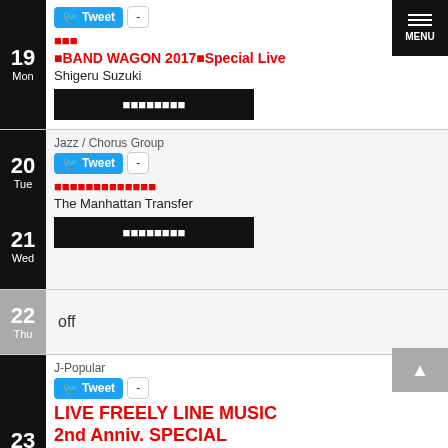19 Mon — BAND WAGON 2017 Special Live — Shigeru Suzuki
20 Tue / 21 Wed — Jazz / Chorus Group — The Manhattan Transfer
22 Thu — off
23 Fri — J-Popular — LIVE FREELY LINE MUSIC 2nd Anniv. SPECIAL — Dream Ami
24 — [日本語]JALCARD presents ROCKIN' QUARTET 日本語